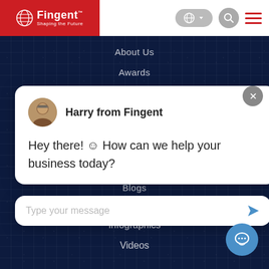[Figure (screenshot): Fingent website header with red logo box on left, language selector, search icon, and hamburger menu on right, all on white background]
About Us
Awards
Harry from Fingent
Hey there! ☺ How can we help your business today?
Blogs
Type your message
Case Studies
Infographics
Videos